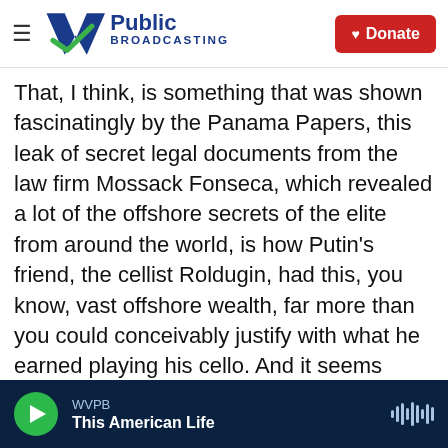WV Public Broadcasting — Donate
That, I think, is something that was shown fascinatingly by the Panama Papers, this leak of secret legal documents from the law firm Mossack Fonseca, which revealed a lot of the offshore secrets of the elite from around the world, is how Putin's friend, the cellist Roldugin, had this, you know, vast offshore wealth, far more than you could conceivably justify with what he earned playing his cello. And it seems likely that he and many of other - Putin's other friends have essentially been able to become wealthy during Putin's time in office. And so some of his oldest friends have become astonishingly wealthy, multi-
WVPB — This American Life